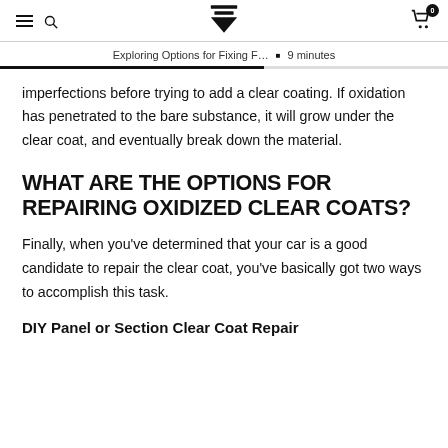≡  🔍  [logo]  🛒 0
Exploring Options for Fixing F…  •  9 minutes
imperfections before trying to add a clear coating. If oxidation has penetrated to the bare substance, it will grow under the clear coat, and eventually break down the material.
WHAT ARE THE OPTIONS FOR REPAIRING OXIDIZED CLEAR COATS?
Finally, when you've determined that your car is a good candidate to repair the clear coat, you've basically got two ways to accomplish this task.
DIY Panel or Section Clear Coat Repair